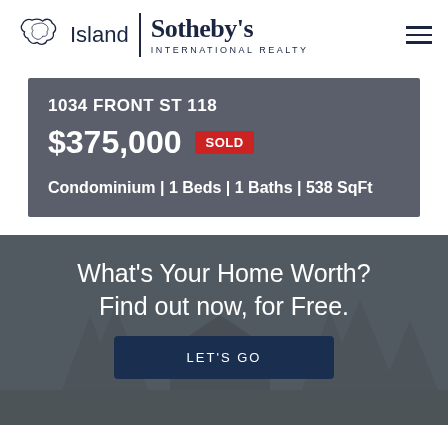[Figure (logo): Island Sotheby's International Realty logo with island silhouette icon, vertical divider, and text]
1034 FRONT ST 118
$375,000 SOLD
Condominium | 1 Beds | 1 Baths | 538 SqFt
What's Your Home Worth? Find out now, for Free.
LET'S GO